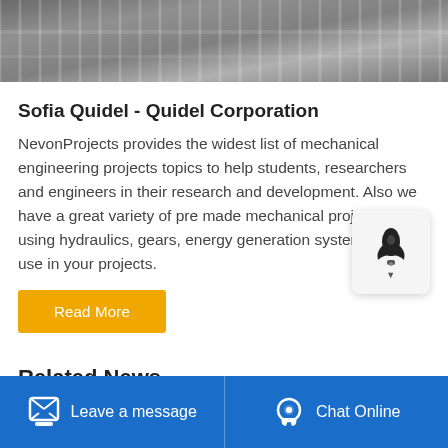[Figure (photo): Aerial or close-up photo of railway tracks / gravel surface, cropped at top]
Sofia Quidel - Quidel Corporation
NevonProjects provides the widest list of mechanical engineering projects topics to help students, researchers and engineers in their research and development. Also we have a great variety of pre made mechanical project kits using hydraulics, gears, energy generation systems f you to use in your projects.
[Figure (other): Rocket/launch icon widget floating on right side]
Related News
Leave a message   Chat Online